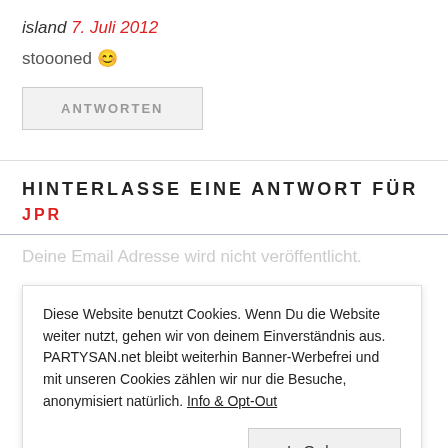island 7. Juli 2012
stoooned 😊
ANTWORTEN
HINTERLASSE EINE ANTWORT FÜR
JPR
Deine Email Adresse wird nicht veröffentlicht.
Diese Website benutzt Cookies. Wenn Du die Website weiter nutzt, gehen wir von deinem Einverständnis aus. PARTYSAN.net bleibt weiterhin Banner-Werbefrei und mit unseren Cookies zählen wir nur die Besuche, anonymisiert natürlich. Info & Opt-Out
In Ordnung